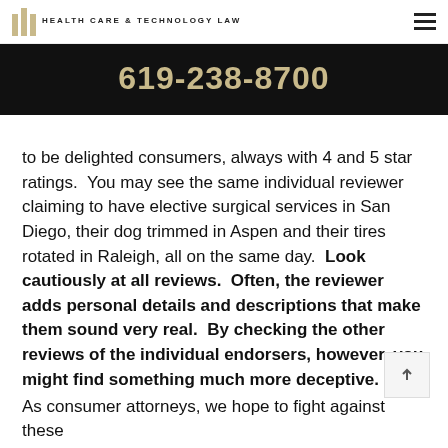HEALTH CARE & TECHNOLOGY LAW
619-238-8700
to be delighted consumers, always with 4 and 5 star ratings.  You may see the same individual reviewer claiming to have elective surgical services in San Diego, their dog trimmed in Aspen and their tires rotated in Raleigh, all on the same day.  Look cautiously at all reviews.  Often, the reviewer adds personal details and descriptions that make them sound very real.  By checking the other reviews of the individual endorsers, however, you might find something much more deceptive.
As consumer attorneys, we hope to fight against these